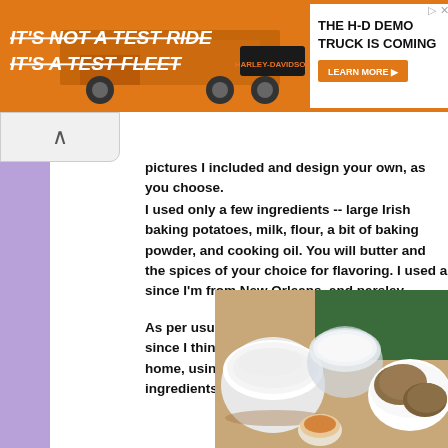[Figure (other): Advertisement banner: orange background with trucks, text 'IT'S NOT A TEST RIDE IT'S A TEST FLEET', Harley-Davidson logo, John Elway branding, and 'THE H-D DEMO TRUCK IS COMING' with 'LEARN MORE' button]
pictures I included and design your own, as you choose.
I used only a few ingredients -- large Irish baking potatoes, milk, flour, a bit of baking powder, and cooking oil. You will butter and the spices of your choice for flavoring. I used a since I'm from New Orleans, and parsley.
As per usual I do not give a precise recipe since I think peo concoct their own version at home, using a little imaginatio list of ingredients and pictures.
[Figure (photo): Photo of baking ingredients: a white bowl with flour, a glass bowl with milk, a white plate with potatoes, and a small dish with orange spice/powder on a wooden surface with green background]